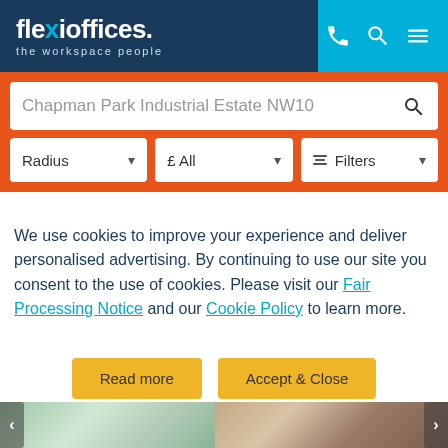[Figure (screenshot): Flexi Offices website header with logo 'flexioffices. the workspace people' on dark blue background, and phone/search/menu icons on light blue background]
Chapman Park Industrial Estate NW10
Radius   £ All   Filters
We use cookies to improve your experience and deliver personalised advertising. By continuing to use our site you consent to the use of cookies. Please visit our Fair Processing Notice and our Cookie Policy to learn more.
Read more   Accept & Close
[Figure (photo): Two office/workspace interior photos partially visible at the bottom of the page, with left and right navigation arrows]